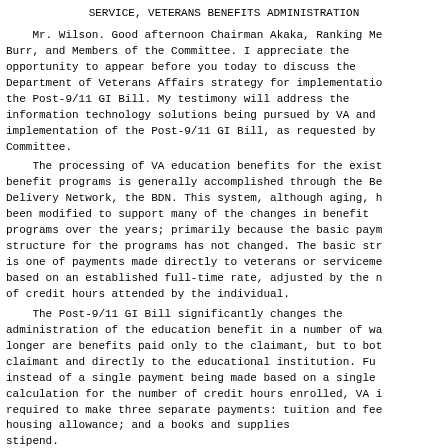SERVICE, VETERANS BENEFITS ADMINISTRATION
Mr. Wilson. Good afternoon Chairman Akaka, Ranking Me Burr, and Members of the Committee. I appreciate the opportunity to appear before you today to discuss the Department of Veterans Affairs strategy for implementation the Post-9/11 GI Bill. My testimony will address the information technology solutions being pursued by VA and implementation of the Post-9/11 GI Bill, as requested by Committee.
The processing of VA education benefits for the exist benefit programs is generally accomplished through the Be Delivery Network, the BDN. This system, although aging, h been modified to support many of the changes in benefit programs over the years; primarily because the basic paym structure for the programs has not changed. The basic str is one of payments made directly to veterans or serviceme based on an established full-time rate, adjusted by the n of credit hours attended by the individual.
The Post-9/11 GI Bill significantly changes the administration of the education benefit in a number of wa longer are benefits paid only to the claimant, but to bot claimant and directly to the educational institution. Fu instead of a single payment being made based on a single calculation for the number of credit hours enrolled, VA i required to make three separate payments: tuition and fee housing allowance; and a books and supplies stipend.
These payments are not based solely on hours enrolled also on the geographic location of the claimant's school